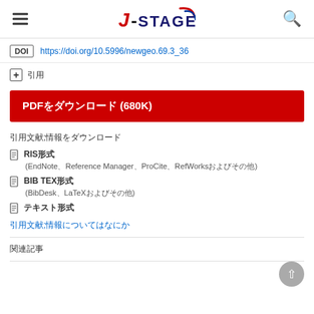J-STAGE
DOI https://doi.org/10.5996/newgeo.69.3_36
+ 引用
PDFをダウンロード (680K)
引用文献情報をダウンロード
RIS形式
(EndNote、Reference Manager、ProCite、RefWorksおよびその他)
BIB TEX形式
(BibDesk、LaTeXおよびその他)
テキスト形式
引用文献情報についてはなにか
関連記事